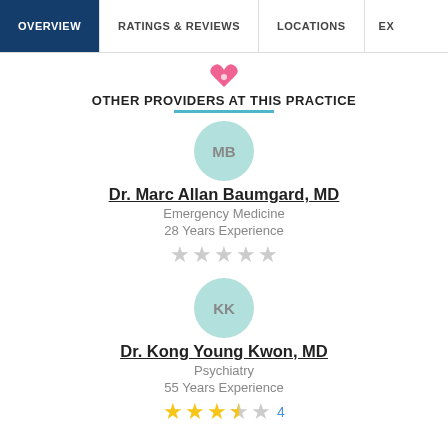OVERVIEW | RATINGS & REVIEWS | LOCATIONS | EX
OTHER PROVIDERS AT THIS PRACTICE
[Figure (illustration): Pink heart/location icon]
MB — avatar initials for Dr. Marc Allan Baumgard
Dr. Marc Allan Baumgard, MD
Emergency Medicine
28 Years Experience
★ ★ ★ ★ ★ (gray stars, no rating)
KK — avatar initials for Dr. Kong Young Kwon
Dr. Kong Young Kwon, MD
Psychiatry
55 Years Experience
★ ★ ★ ★ (3 gold, 1 half, 1 gray) — 4 reviews